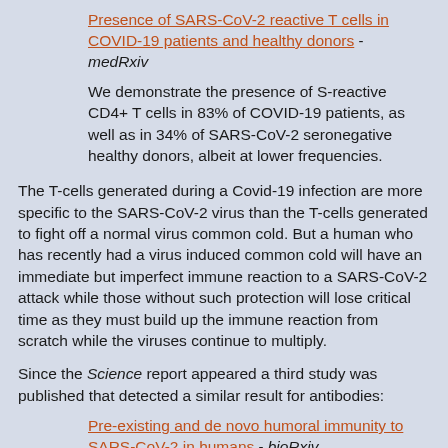Presence of SARS-CoV-2 reactive T cells in COVID-19 patients and healthy donors - medRxiv
We demonstrate the presence of S-reactive CD4+ T cells in 83% of COVID-19 patients, as well as in 34% of SARS-CoV-2 seronegative healthy donors, albeit at lower frequencies.
The T-cells generated during a Covid-19 infection are more specific to the SARS-CoV-2 virus than the T-cells generated to fight off a normal virus common cold. But a human who has recently had a virus induced common cold will have an immediate but imperfect immune reaction to a SARS-CoV-2 attack while those without such protection will lose critical time as they must build up the immune reaction from scratch while the viruses continue to multiply.
Since the Science report appeared a third study was published that detected a similar result for antibodies:
Pre-existing and de novo humoral immunity to SARS-CoV-2 in humans - bioRxiv
Using diverse assays for detection of antibodies